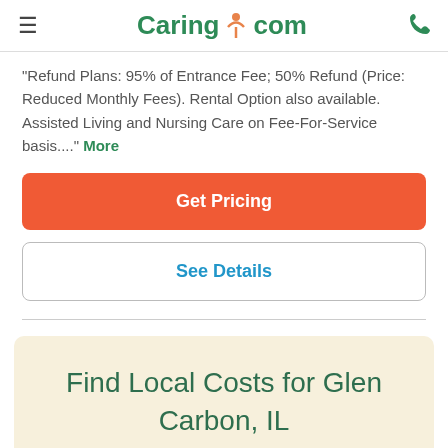Caring.com
"Refund Plans: 95% of Entrance Fee; 50% Refund (Price: Reduced Monthly Fees). Rental Option also available. Assisted Living and Nursing Care on Fee-For-Service basis...." More
Get Pricing
See Details
Find Local Costs for Glen Carbon, IL